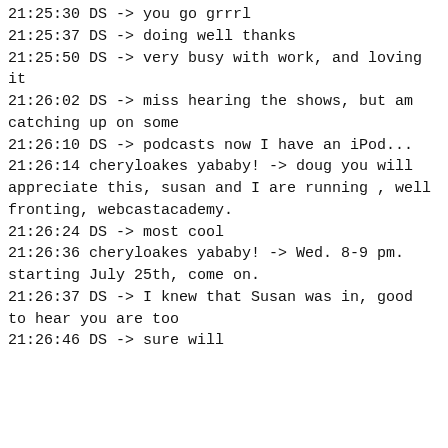21:25:30  DS ->  you go grrrl
21:25:37  DS ->  doing well thanks
21:25:50  DS ->  very busy with work, and loving it
21:26:02  DS ->  miss hearing the shows, but am catching up on some
21:26:10  DS ->  podcasts now I have an iPod...
21:26:14  cheryloakes yababy! ->  doug you will appreciate this, susan and I are running , well fronting, webcastacademy.
21:26:24  DS ->  most cool
21:26:36  cheryloakes yababy! ->  Wed. 8-9 pm. starting July 25th, come on.
21:26:37  DS ->  I knew that Susan was in, good to hear you are too
21:26:46  DS ->  sure will